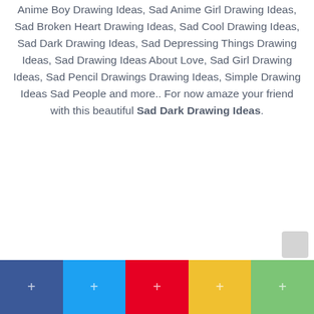Anime Boy Drawing Ideas, Sad Anime Girl Drawing Ideas, Sad Broken Heart Drawing Ideas, Sad Cool Drawing Ideas, Sad Dark Drawing Ideas, Sad Depressing Things Drawing Ideas, Sad Drawing Ideas About Love, Sad Girl Drawing Ideas, Sad Pencil Drawings Drawing Ideas, Simple Drawing Ideas Sad People and more.. For now amaze your friend with this beautiful Sad Dark Drawing Ideas.
Social share bar with Facebook, Twitter, Pinterest, Yellow (unknown), WhatsApp buttons